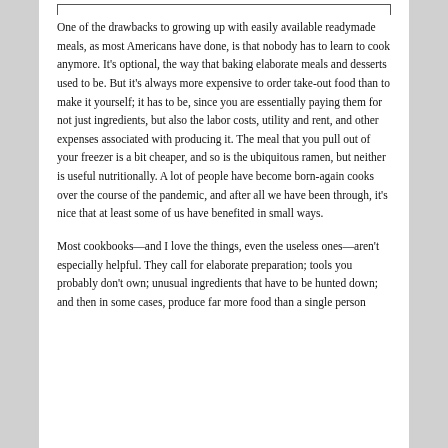One of the drawbacks to growing up with easily available readymade meals, as most Americans have done, is that nobody has to learn to cook anymore. It's optional, the way that baking elaborate meals and desserts used to be. But it's always more expensive to order take-out food than to make it yourself; it has to be, since you are essentially paying them for not just ingredients, but also the labor costs, utility and rent, and other expenses associated with producing it. The meal that you pull out of your freezer is a bit cheaper, and so is the ubiquitous ramen, but neither is useful nutritionally. A lot of people have become born-again cooks over the course of the pandemic, and after all we have been through, it's nice that at least some of us have benefited in small ways.
Most cookbooks—and I love the things, even the useless ones—aren't especially helpful. They call for elaborate preparation; tools you probably don't own; unusual ingredients that have to be hunted down; and then in some cases, produce far more food than a single person